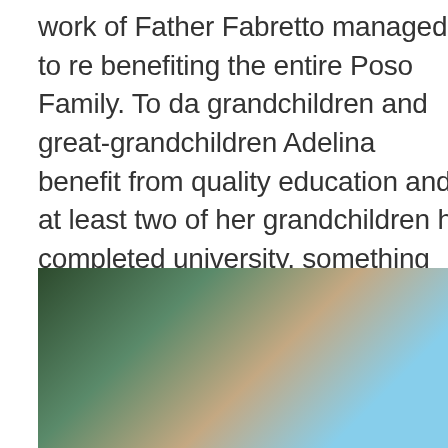work of Father Fabretto managed to re benefiting the entire Poso Family. To da grandchildren and great-grandchildren Adelina benefit from quality education and at least two of her grandchildren h completed university, something that M never had the opportunity to do. For M education has been a gift that has ope to job opportunities and an income for economy.
[Figure (photo): Close-up photo of a person's hands or arm with a blue garment visible, set against dark green foliage background. A magenta/pink circular scroll-to-top button with a white chevron arrow is overlaid in the lower right area of the image.]